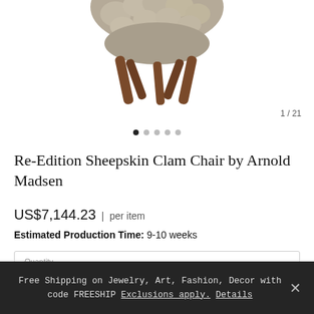[Figure (photo): Sheepskin Clam Chair with wooden legs on white background, partial view showing bottom portion of chair]
1 / 21
Re-Edition Sheepskin Clam Chair by Arnold Madsen
US$7,144.23 | per item
Estimated Production Time: 9-10 weeks
Quantity
1
PURCHASE
Free Shipping on Jewelry, Art, Fashion, Decor with code FREESHIP Exclusions apply. Details